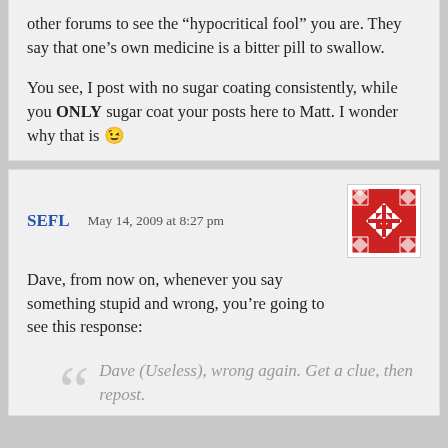other forums to see the “hypocritical fool” you are. They say that one’s own medicine is a bitter pill to swallow.

You see, I post with no sugar coating consistently, while you ONLY sugar coat your posts here to Matt. I wonder why that is 😉
SEFL  May 14, 2009 at 8:27 pm
Dave, from now on, whenever you say something stupid and wrong, you’re going to see this response:
Dave (Useless), wrong again. Get a clue, then repost.